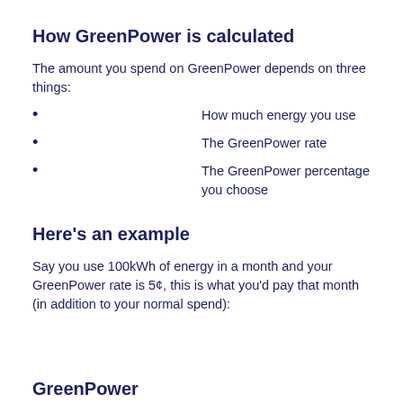How GreenPower is calculated
The amount you spend on GreenPower depends on three things:
How much energy you use
The GreenPower rate
The GreenPower percentage you choose
Here's an example
Say you use 100kWh of energy in a month and your GreenPower rate is 5¢, this is what you'd pay that month (in addition to your normal spend):
GreenPower